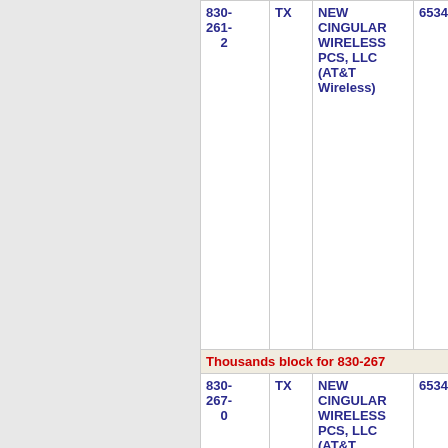| Phone | State | Carrier | Code | City |
| --- | --- | --- | --- | --- |
| 830-261-2 | TX | NEW CINGULAR WIRELESS PCS, LLC (AT&T Wireless) | 6534 | UVALDE |
| Thousands block for 830-267 |  |  |  |  |
| 830-267-0 | TX | NEW CINGULAR WIRELESS PCS, LLC (AT&T Wireless) | 6534 | PEARSAL |